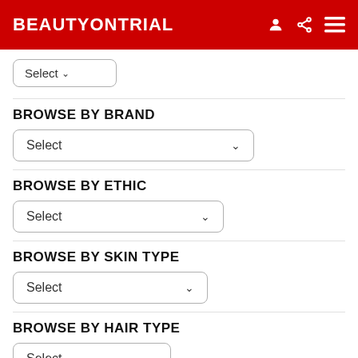BEAUTYONTRIAL
Select (dropdown - partial, top cut off)
BROWSE BY BRAND
Select (dropdown)
BROWSE BY ETHIC
Select (dropdown)
BROWSE BY SKIN TYPE
Select (dropdown)
BROWSE BY HAIR TYPE
Select (dropdown)